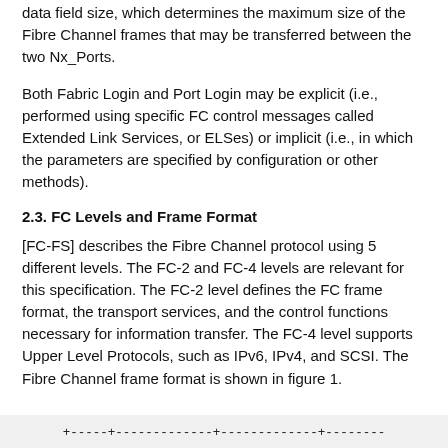data field size, which determines the maximum size of the Fibre Channel frames that may be transferred between the two Nx_Ports.
Both Fabric Login and Port Login may be explicit (i.e., performed using specific FC control messages called Extended Link Services, or ELSes) or implicit (i.e., in which the parameters are specified by configuration or other methods).
2.3. FC Levels and Frame Format
[FC-FS] describes the Fibre Channel protocol using 5 different levels. The FC-2 and FC-4 levels are relevant for this specification. The FC-2 level defines the FC frame format, the transport services, and the control functions necessary for information transfer. The FC-4 level supports Upper Level Protocols, such as IPv6, IPv4, and SCSI. The Fibre Channel frame format is shown in figure 1.
[Figure (schematic): Partial ASCII-art diagram of Fibre Channel frame format showing a table-like box drawing with dashes and plus signs indicating columns/fields.]